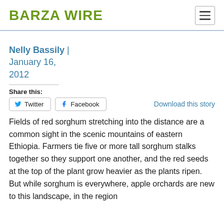BARZA WIRE
Nelly Bassily | January 16, 2012
Share this:
Twitter  Facebook  Download this story
Fields of red sorghum stretching into the distance are a common sight in the scenic mountains of eastern Ethiopia. Farmers tie five or more tall sorghum stalks together so they support one another, and the red seeds at the top of the plant grow heavier as the plants ripen. But while sorghum is everywhere, apple orchards are new to this landscape, in the region